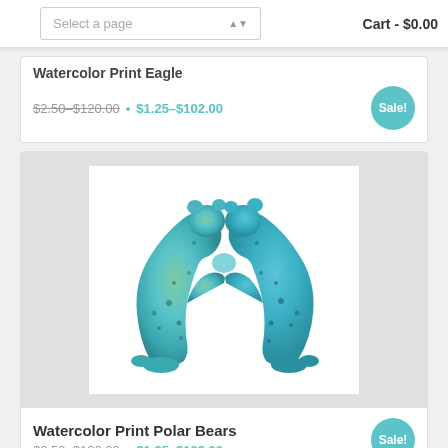Select a page | Cart - $0.00
Watercolor Print Eagle $2.50–$120.00 • $1.25–$102.00 Sale!
[Figure (photo): Two watercolor polar bears facing each other and touching noses/paws forming an arch shape, painted in teal, blue and green watercolor tones on white background]
Watercolor Print Polar Bears $2.50–$120.00 • $1.25–$102.00 Sale!